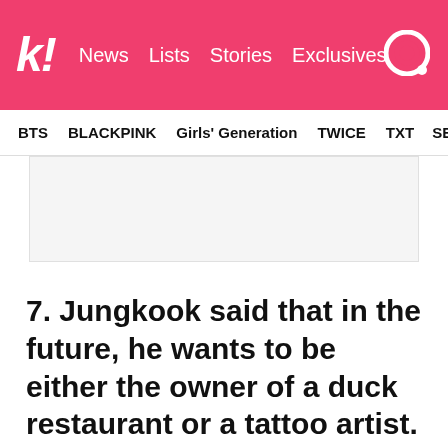k! News Lists Stories Exclusives
BTS  BLACKPINK  Girls' Generation  TWICE  TXT  SEVE
[Figure (other): Advertisement placeholder box (gray rectangle)]
7. Jungkook said that in the future, he wants to be either the owner of a duck restaurant or a tattoo artist.
[Figure (other): Advertisement placeholder box (gray rectangle)]